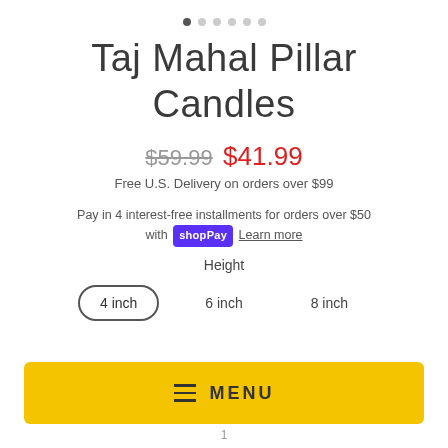[Figure (other): Pagination dots — 6 dots, first one active/filled, rest gray]
Taj Mahal Pillar Candles
$59.99  $41.99
Free U.S. Delivery on orders over $99
Pay in 4 interest-free installments for orders over $50 with shopPay Learn more
Height
4 inch   6 inch   8 inch
MENU
1